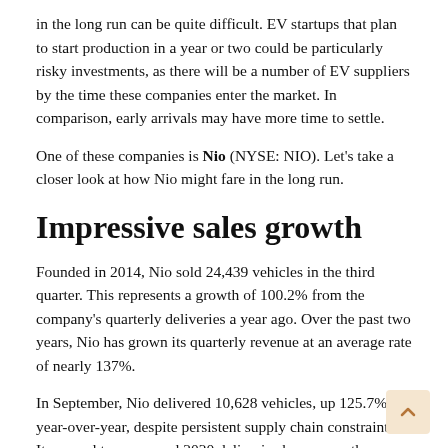in the long run can be quite difficult. EV startups that plan to start production in a year or two could be particularly risky investments, as there will be a number of EV suppliers by the time these companies enter the market. In comparison, early arrivals may have more time to settle.
One of these companies is Nio (NYSE: NIO). Let's take a closer look at how Nio might fare in the long run.
Impressive sales growth
Founded in 2014, Nio sold 24,439 vehicles in the third quarter. This represents a growth of 100.2% from the company's quarterly deliveries a year ago. Over the past two years, Nio has grown its quarterly revenue at an average rate of nearly 137%.
In September, Nio delivered 10,628 vehicles, up 125.7% year-over-year, despite persistent supply chain constraints. Its annual turnover and 2020 deliveries have more than doubled